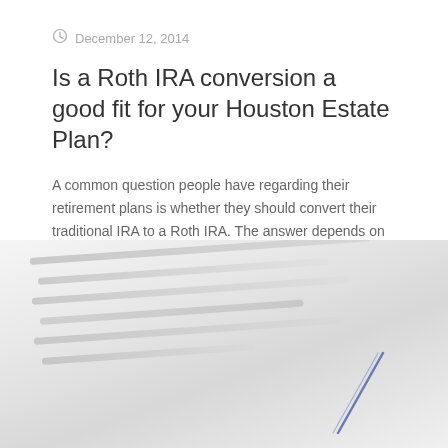December 12, 2014
Is a Roth IRA conversion a good fit for your Houston Estate Plan?
A common question people have regarding their retirement plans is whether they should convert their traditional IRA to a Roth IRA. The answer depends on a [...]
0
Read more
[Figure (photo): Blurred close-up photo of a document with handwritten text and a pen, suggesting a legal or financial document being signed]